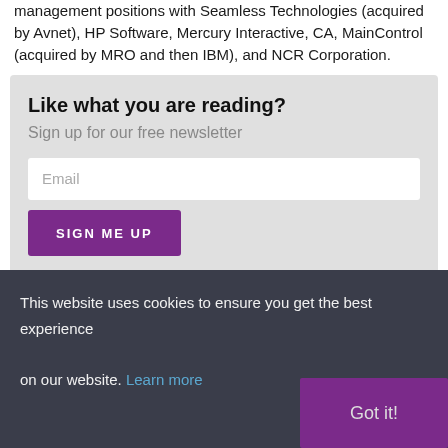management positions with Seamless Technologies (acquired by Avnet), HP Software, Mercury Interactive, CA, MainControl (acquired by MRO and then IBM), and NCR Corporation.
Like what you are reading?
Sign up for our free newsletter
Email
SIGN ME UP
This website uses cookies to ensure you get the best experience on our website. Learn more
Got it!